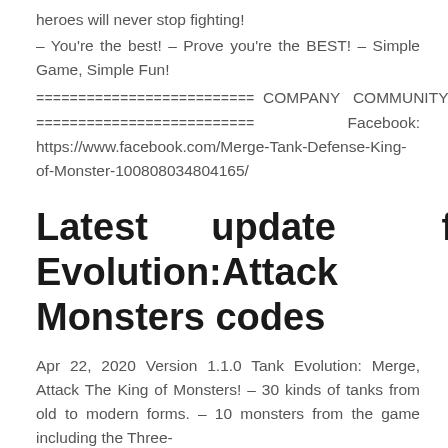heroes will never stop fighting!
– You're the best! – Prove you're the BEST! – Simple Game, Simple Fun!
========================== COMPANY COMMUNITY: ========================== Facebook: https://www.facebook.com/Merge-Tank-Defense-King-of-Monster-100808034804165/
Latest update for Tank Evolution:Attack Monsters codes
Apr 22, 2020 Version 1.1.0 Tank Evolution: Merge, Attack The King of Monsters! – 30 kinds of tanks from old to modern forms. – 10 monsters from the game including the Three-